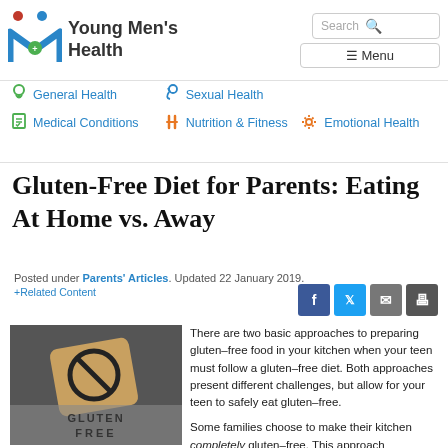[Figure (logo): Young Men's Health logo with stylized M figure and stethoscope icon]
Young Men's Health — Search | Menu navigation bar
General Health | Sexual Health | Medical Conditions | Nutrition & Fitness | Emotional Health
Gluten-Free Diet for Parents: Eating At Home vs. Away
Posted under Parents' Articles. Updated 22 January 2019.
+Related Content
[Figure (photo): Gluten-free bread slice with a no symbol and 'GLUTEN FREE' text written in flour]
There are two basic approaches to preparing gluten–free food in your kitchen when your teen must follow a gluten–free diet. Both approaches present different challenges, but allow for your teen to safely eat gluten–free.

Some families choose to make their kitchen completely gluten–free. This approach